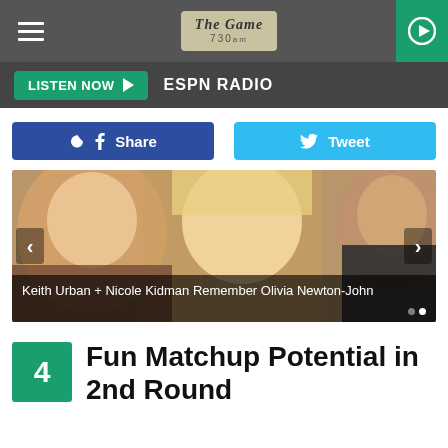[Figure (screenshot): Top navigation bar with hamburger menu, The Game 730am logo center, and green play button on right]
LISTEN NOW ▶  ESPN RADIO
Share  Tweet
[Figure (photo): Photo of Keith Urban, Nicole Kidman, and Olivia Newton-John smiling together]
Keith Urban + Nicole Kidman Remember Olivia Newton-John
4  Fun Matchup Potential in 2nd Round